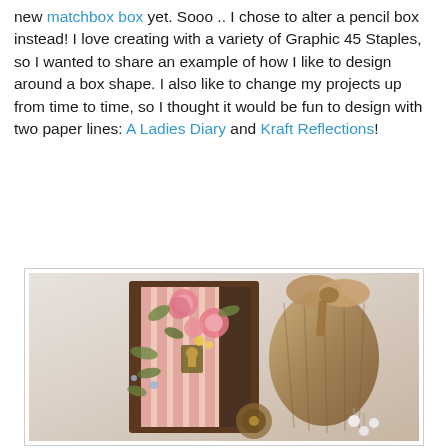new matchbox box yet. Sooo .. I chose to alter a pencil box instead! I love creating with a variety of Graphic 45 Staples, so I wanted to share an example of how I like to design around a box shape. I also like to change my projects up from time to time, so I thought it would be fun to design with two paper lines: A Ladies Diary and Kraft Reflections!
[Figure (photo): A decorated altered pencil box standing upright, featuring pink striped paper, floral embellishments (pink roses and leaves), a brass lock/keyhole piece, and a burlap bow/bag with pearl charms, styled as a vintage craft project.]